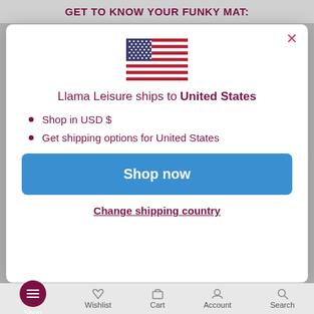GET TO KNOW YOUR FUNKY MAT:
[Figure (illustration): US flag emoji/icon — rectangular flag with blue canton with white stars and red/white horizontal stripes]
Llama Leisure ships to United States
Shop in USD $
Get shipping options for United States
Shop now
Change shipping country
Shop  Wishlist  Cart  Account  Search